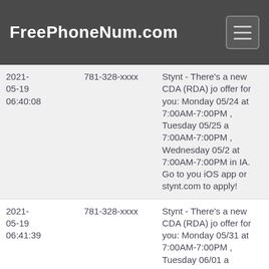FreePhoneNum.com
| Date | Phone | Message |
| --- | --- | --- |
| 2021-05-19 06:40:08 | 781-328-xxxx | Stynt - There's a new CDA (RDA) jo offer for you: Monday 05/24 at 7:00AM-7:00PM , Tuesday 05/25 at 7:00AM-7:00PM , Wednesday 05/26 at 7:00AM-7:00PM in IA. Go to your iOS app or stynt.com to apply! |
| 2021-05-19 06:41:39 | 781-328-xxxx | Stynt - There's a new CDA (RDA) jo offer for you: Monday 05/31 at 7:00AM-7:00PM , Tuesday 06/01 at 7:00AM-7:00PM , Wednesday 06/02 at 7:00AM-7:00PM in IA. Go to your iOS app or stynt.com to apply! |
| 2021-05-19 07:23:13 | 781-328-xxxx | Stynt - There's a new CDA (RDA) jo offer for you: Monday 05/24 at 7:00AM-7:00PM , Tuesday 05/25 at 7:00AM-7:00PM , Wednesday 05/26 at 7:00AM-7:00PM in Des Moines. Go to your iOS app or stynt.com to apply! |
| 2021-05-19 07:23:14 | 781-328-xxxx | Stynt - There's a new CDA (RDA) jo offer for you: Monday 05/31 at 7:00AM-7:00PM , Tuesday 06/01 at ... |